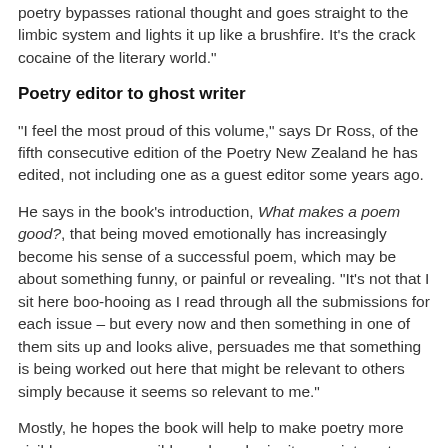poetry bypasses rational thought and goes straight to the limbic system and lights it up like a brushfire. It’s the crack cocaine of the literary world.”
Poetry editor to ghost writer
“I feel the most proud of this volume,” says Dr Ross, of the fifth consecutive edition of the Poetry New Zealand he has edited, not including one as a guest editor some years ago.
He says in the book’s introduction, What makes a poem good?, that being moved emotionally has increasingly become his sense of a successful poem, which may be about something funny, or painful or revealing. “It’s not that I sit here boo-hooing as I read through all the submissions for each issue – but every now and then something in one of them sits up and looks alive, persuades me that something is being worked out here that might be relevant to others simply because it seems so relevant to me.”
Mostly, he hopes the book will help to make poetry more visible, more accessible and maybe ignite new interest